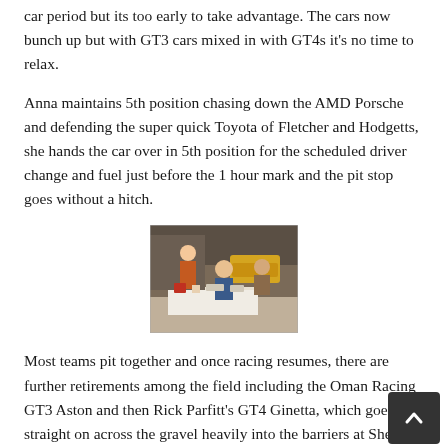car period but its too early to take advantage. The cars now bunch up but with GT3 cars mixed in with GT4s it's no time to relax.
Anna maintains 5th position chasing down the AMD Porsche and defending the super quick Toyota of Fletcher and Hodgetts, she hands the car over in 5th position for the scheduled driver change and fuel just before the 1 hour mark and the pit stop goes without a hitch.
[Figure (photo): Photo of people standing around a table in a pit garage or exhibition area, with a racing car visible in the background.]
Most teams pit together and once racing resumes, there are further retirements among the field including the Oman Racing GT3 Aston and then Rick Parfitt's GT4 Ginetta, which goes straight on across the gravel heavily into the barriers at Sheene corner.